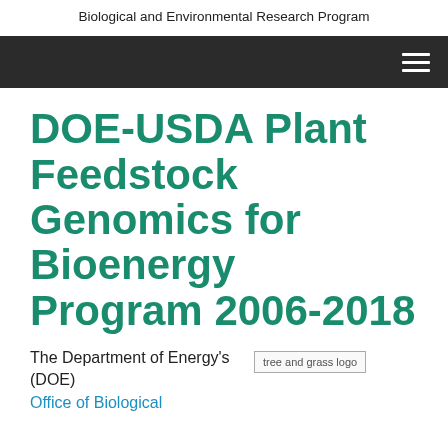Biological and Environmental Research Program
[Figure (screenshot): Dark navigation bar with hamburger menu icon on the right]
DOE-USDA Plant Feedstock Genomics for Bioenergy Program 2006-2018
The Department of Energy's (DOE) Office of Biological
[Figure (logo): tree and grass logo]